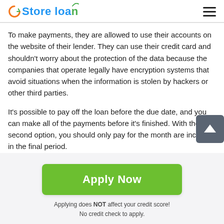Store loan
To make payments, they are allowed to use their accounts on the website of their lender. They can use their credit card and shouldn't worry about the protection of the data because the companies that operate legally have encryption systems that avoid situations when the information is stolen by hackers or other third parties.
It's possible to pay off the loan before the due date, and you can make all of the payments before it's finished. With the second option, you should only pay for the month are included in the final period.
Apply Now
Applying does NOT affect your credit score!
No credit check to apply.